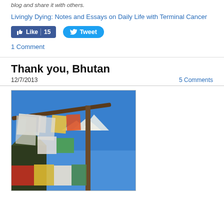blog and share it with others.
Livingly Dying: Notes and Essays on Daily Life with Terminal Cancer
[Figure (screenshot): Facebook Like button showing 15 likes and Twitter Tweet button]
1 Comment
Thank you, Bhutan
12/7/2013
5 Comments
[Figure (photo): Colorful prayer flags hanging on poles with blue sky and mountain landscape in background, taken in Bhutan]